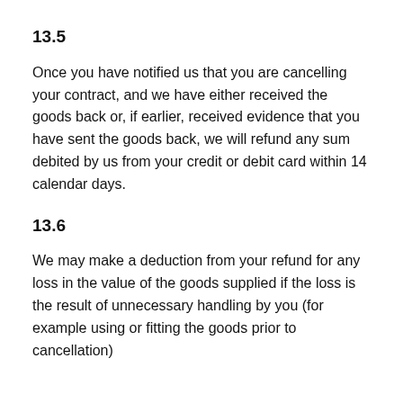13.5
Once you have notified us that you are cancelling your contract, and we have either received the goods back or, if earlier, received evidence that you have sent the goods back, we will refund any sum debited by us from your credit or debit card within 14 calendar days.
13.6
We may make a deduction from your refund for any loss in the value of the goods supplied if the loss is the result of unnecessary handling by you (for example using or fitting the goods prior to cancellation)